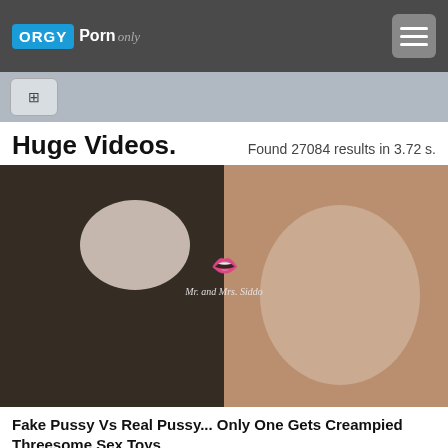ORGY Porn only
Found 27084 results in 3.72 s.
Huge Videos.
[Figure (photo): Thumbnail image for adult video content with watermark text 'Mr. and Mrs. Siddo']
Fake Pussy Vs Real Pussy... Only One Gets Creampied Threesome Sex Toys